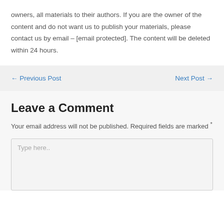owners, all materials to their authors. If you are the owner of the content and do not want us to publish your materials, please contact us by email – [email protected]. The content will be deleted within 24 hours.
← Previous Post   Next Post →
Leave a Comment
Your email address will not be published. Required fields are marked *
Type here..